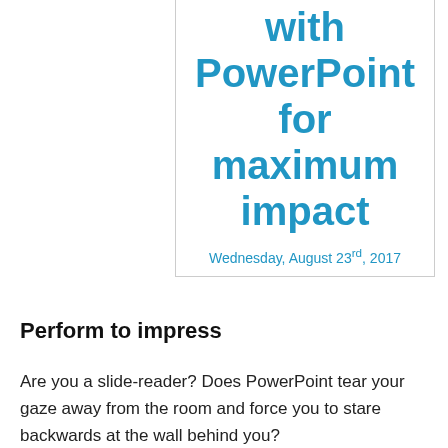with PowerPoint for maximum impact
Wednesday, August 23rd, 2017
Perform to impress
Are you a slide-reader? Does PowerPoint tear your gaze away from the room and force you to stare backwards at the wall behind you?